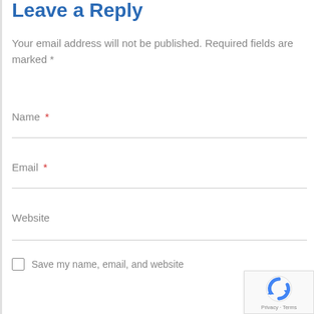Leave a Reply
Your email address will not be published. Required fields are marked *
Name *
Email *
Website
Save my name, email, and website
[Figure (logo): Google reCAPTCHA badge with arrow logo and Privacy · Terms text]